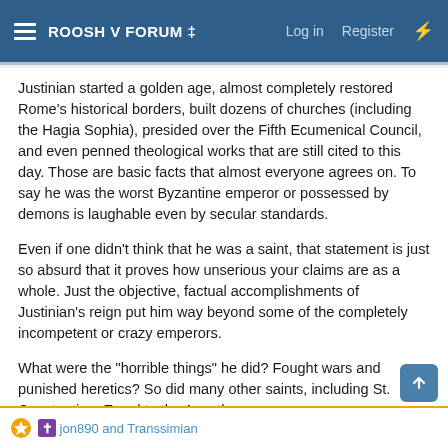ROOSH V FORUM ‡  Log in  Register
Justinian started a golden age, almost completely restored Rome's historical borders, built dozens of churches (including the Hagia Sophia), presided over the Fifth Ecumenical Council, and even penned theological works that are still cited to this day. Those are basic facts that almost everyone agrees on. To say he was the worst Byzantine emperor or possessed by demons is laughable even by secular standards.
Even if one didn't think that he was a saint, that statement is just so absurd that it proves how unserious your claims are as a whole. Just the objective, factual accomplishments of Justinian's reign put him way beyond some of the completely incompetent or crazy emperors.
What were the "horrible things" he did? Fought wars and punished heretics? So did many other saints, including St. Constantine, Equal to the Apostles.
jon890 and Transsimian